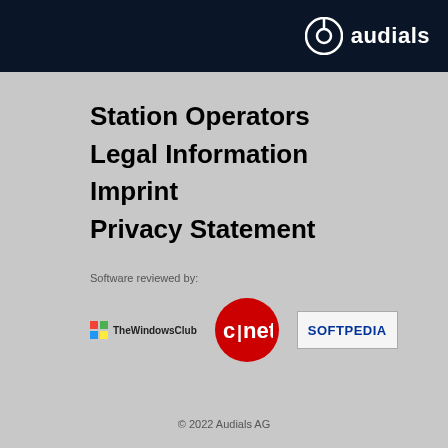audials
Station Operators
Legal Information
Imprint
Privacy Statement
Software reviewed by:
[Figure (logo): TheWindowsClub logo with colorful Windows flag icon and text 'TheWindowsClub']
[Figure (logo): CNET logo: red circle with white 'c|net' text]
[Figure (logo): Softpedia logo: white/light box with blue bold 'SOFTPEDIA' text]
© 2022 Audials AG